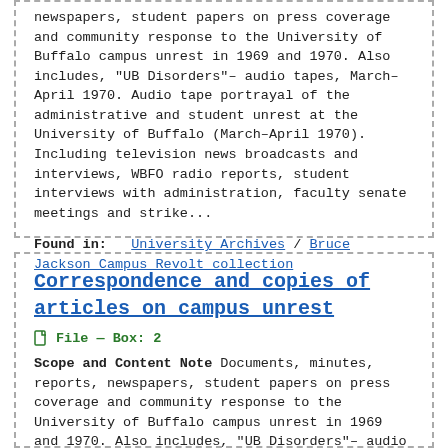newspapers, student papers on press coverage and community response to the University of Buffalo campus unrest in 1969 and 1970. Also includes, "UB Disorders"– audio tapes, March–April 1970. Audio tape portrayal of the administrative and student unrest at the University of Buffalo (March–April 1970). Including television news broadcasts and interviews, WBFO radio reports, student interviews with administration, faculty senate meetings and strike...
Found in:   University Archives / Bruce Jackson Campus Revolt collection
Correspondence and copies of articles on campus unrest
File — Box: 2
Scope and Content Note Documents, minutes, reports, newspapers, student papers on press coverage and community response to the University of Buffalo campus unrest in 1969 and 1970. Also includes, "UB Disorders"– audio tapes, March–April 1970. Audio tape portrayal of the administrative and student unrest at the University of Buffalo (March–April 1970). Including